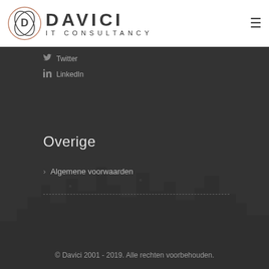[Figure (logo): Davici IT Consultancy logo with circular emblem and company name]
Twitter
LinkedIn
Overige
Algemene voorwaarden
© Davici 2001 - 2019. Alle rechten voorbehouden.